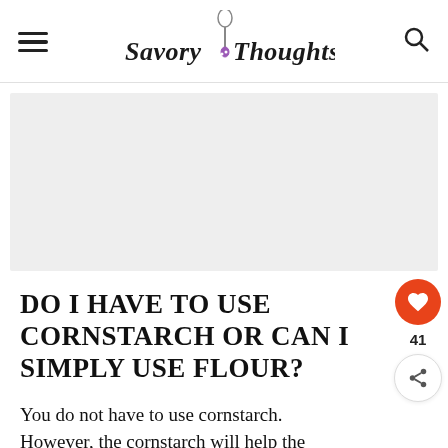Savory Thoughts
[Figure (other): Advertisement placeholder block, light gray rectangle]
DO I HAVE TO USE CORNSTARCH OR CAN I SIMPLY USE FLOUR?
You do not have to use cornstarch. However, the cornstarch will help the chicken to get that ultra-crispy outer layer we so love.